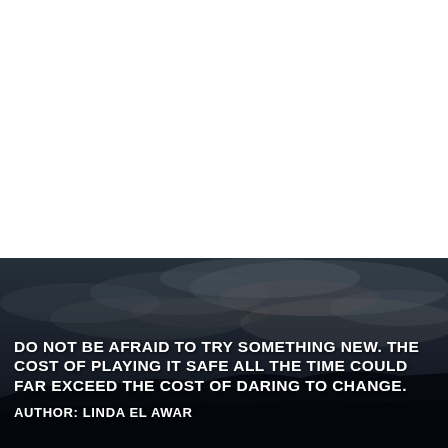[Figure (photo): Dark dramatic sky with clouds over a silhouetted landscape. Overlaid white bold uppercase text quote: 'DO NOT BE AFRAID TO TRY SOMETHING NEW. THE COST OF PLAYING IT SAFE ALL THE TIME COULD FAR EXCEED THE COST OF DARING TO CHANGE.' with author attribution 'AUTHOR: LINDA EL AWAR']